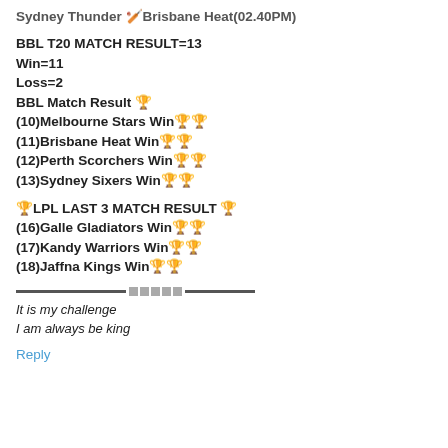Sydney Thunder 🏏Brisbane Heat(02.40PM)
BBL T20 MATCH RESULT=13
Win=11
Loss=2
BBL Match Result 🏆
(10)Melbourne Stars Win🏆🏆
(11)Brisbane Heat Win🏆🏆
(12)Perth Scorchers Win🏆🏆
(13)Sydney Sixers Win🏆🏆
🏆LPL LAST 3 MATCH RESULT 🏆
(16)Galle Gladiators Win🏆🏆
(17)Kandy Warriors Win🏆🏆
(18)Jaffna Kings Win🏆🏆
It is my challenge
I am always be king
Reply